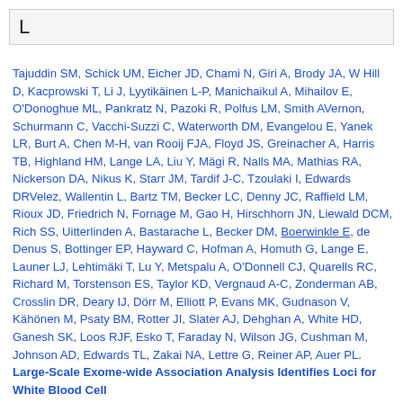L
Tajuddin SM, Schick UM, Eicher JD, Chami N, Giri A, Brody JA, W Hill D, Kacprowski T, Li J, Lyytikäinen L-P, Manichaikul A, Mihailov E, O'Donoghue ML, Pankratz N, Pazoki R, Polfus LM, Smith AVernon, Schurmann C, Vacchi-Suzzi C, Waterworth DM, Evangelou E, Yanek LR, Burt A, Chen M-H, van Rooij FJA, Floyd JS, Greinacher A, Harris TB, Highland HM, Lange LA, Liu Y, Mägi R, Nalls MA, Mathias RA, Nickerson DA, Nikus K, Starr JM, Tardif J-C, Tzoulaki I, Edwards DRVelez, Wallentin L, Bartz TM, Becker LC, Denny JC, Raffield LM, Rioux JD, Friedrich N, Fornage M, Gao H, Hirschhorn JN, Liewald DCM, Rich SS, Uitterlinden A, Bastarache L, Becker DM, Boerwinkle E, de Denus S, Bottinger EP, Hayward C, Hofman A, Homuth G, Lange E, Launer LJ, Lehtimäki T, Lu Y, Metspalu A, O'Donnell CJ, Quarells RC, Richard M, Torstenson ES, Taylor KD, Vergnaud A-C, Zonderman AB, Crosslin DR, Deary IJ, Dörr M, Elliott P, Evans MK, Gudnason V, Kähönen M, Psaty BM, Rotter JI, Slater AJ, Dehghan A, White HD, Ganesh SK, Loos RJF, Esko T, Faraday N, Wilson JG, Cushman M, Johnson AD, Edwards TL, Zakai NA, Lettre G, Reiner AP, Auer PL. Large-Scale Exome-wide Association Analysis Identifies Loci for White Blood Cell